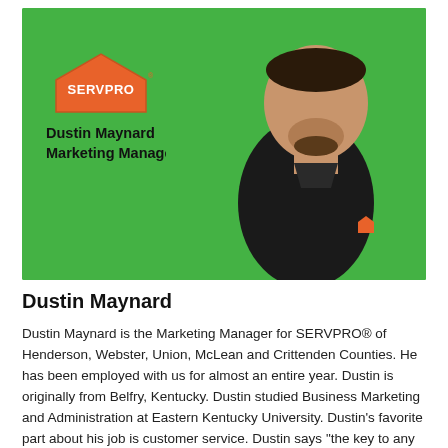[Figure (photo): Professional photo of Dustin Maynard wearing black SERVPRO polo shirt against a bright green background, with SERVPRO logo and name/title overlay on the left side.]
Dustin Maynard
Dustin Maynard is the Marketing Manager for SERVPRO® of Henderson, Webster, Union, McLean and Crittenden Counties. He has been employed with us for almost an entire year. Dustin is originally from Belfry, Kentucky. Dustin studied Business Marketing and Administration at Eastern Kentucky University. Dustin's favorite part about his job is customer service. Dustin says "the key to any business relationship